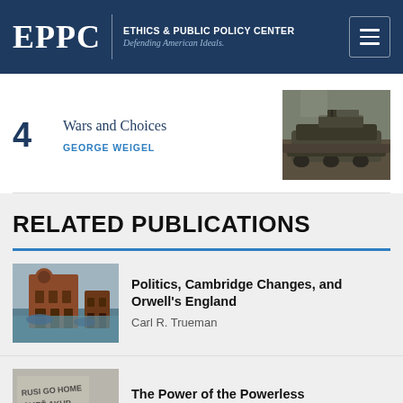EPPC | ETHICS & PUBLIC POLICY CENTER Defending American Ideals.
4 Wars and Choices — GEORGE WEIGEL
RELATED PUBLICATIONS
Politics, Cambridge Changes, and Orwell's England — Carl R. Trueman
The Power of the Powerless — Francis X. Maier